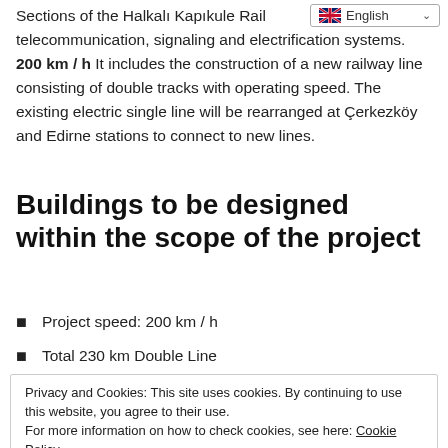Sections of the Halkalı Kapıkule Rail… telecommunication, signaling and electrification systems. 200 km / h It includes the construction of a new railway line consisting of double tracks with operating speed. The existing electric single line will be rearranged at Çerkezköy and Edirne stations to connect to new lines.
Buildings to be designed within the scope of the project
Project speed: 200 km / h
Total 230 km Double Line
Privacy and Cookies: This site uses cookies. By continuing to use this website, you agree to their use. For more information on how to check cookies, see here: Cookie Policy